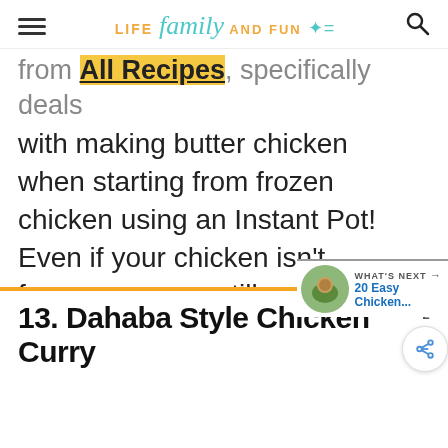LIFE family AND FUN
from All Recipes, specifically deals with making butter chicken when starting from frozen chicken using an Instant Pot! Even if your chicken isn't frozen, you can still make this deliciously easy meal next time you are craving Indian style chicken.
13. Dahaba Style Chicken Curry